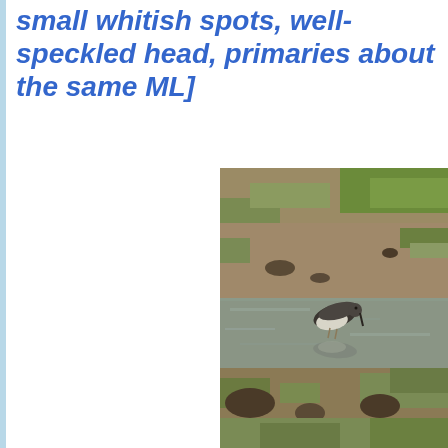small whitish spots, well-speckled head, primaries about the same ML]
[Figure (photo): A small shorebird (sandpiper) standing in a shallow muddy puddle or flooded field, bending its head down to feed. The bird has dark upperparts and white underparts with a reflection visible in the water. Background shows muddy ground with patches of green grass.]